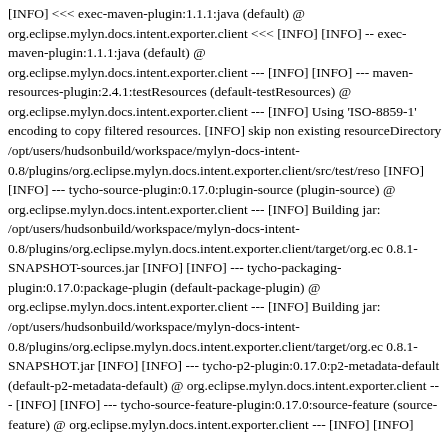[INFO] <<< exec-maven-plugin:1.1.1:java (default) @ org.eclipse.mylyn.docs.intent.exporter.client <<< [INFO] [INFO] -- exec-maven-plugin:1.1.1:java (default) @ org.eclipse.mylyn.docs.intent.exporter.client --- [INFO] [INFO] --- maven-resources-plugin:2.4.1:testResources (default-testResources) @ org.eclipse.mylyn.docs.intent.exporter.client --- [INFO] Using 'ISO-8859-1' encoding to copy filtered resources. [INFO] skip non existing resourceDirectory /opt/users/hudsonbuild/workspace/mylyn-docs-intent-0.8/plugins/org.eclipse.mylyn.docs.intent.exporter.client/src/test/reso [INFO] [INFO] --- tycho-source-plugin:0.17.0:plugin-source (plugin-source) @ org.eclipse.mylyn.docs.intent.exporter.client --- [INFO] Building jar: /opt/users/hudsonbuild/workspace/mylyn-docs-intent-0.8/plugins/org.eclipse.mylyn.docs.intent.exporter.client/target/org.ec 0.8.1-SNAPSHOT-sources.jar [INFO] [INFO] --- tycho-packaging-plugin:0.17.0:package-plugin (default-package-plugin) @ org.eclipse.mylyn.docs.intent.exporter.client --- [INFO] Building jar: /opt/users/hudsonbuild/workspace/mylyn-docs-intent-0.8/plugins/org.eclipse.mylyn.docs.intent.exporter.client/target/org.ec 0.8.1-SNAPSHOT.jar [INFO] [INFO] --- tycho-p2-plugin:0.17.0:p2-metadata-default (default-p2-metadata-default) @ org.eclipse.mylyn.docs.intent.exporter.client --- [INFO] [INFO] --- tycho-source-feature-plugin:0.17.0:source-feature (source-feature) @ org.eclipse.mylyn.docs.intent.exporter.client --- [INFO] [INFO]